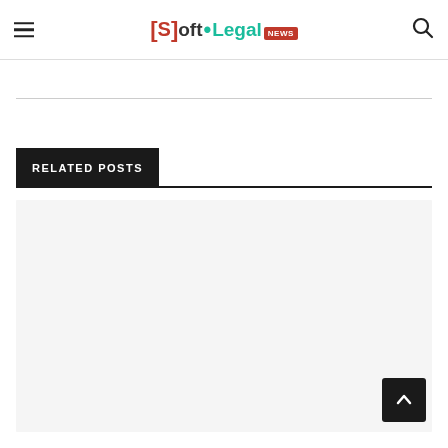Soft.Legal NEWS
RELATED POSTS
[Figure (other): Empty related posts content area with light gray background]